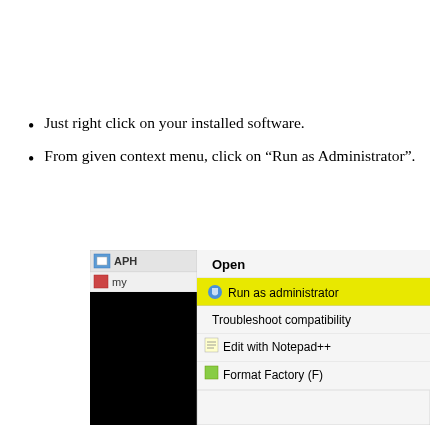Just right click on your installed software.
From given context menu, click on “Run as Administrator”.
[Figure (screenshot): Windows context menu screenshot showing options: Open, Run as administrator (highlighted in yellow), Troubleshoot compatibility, Edit with Notepad++, Format Factory (F). Left side shows partially visible file explorer with a black redacted block.]